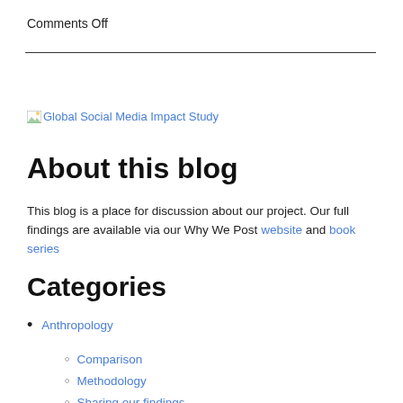Comments Off
[Figure (other): Broken image placeholder with link text: Global Social Media Impact Study]
About this blog
This blog is a place for discussion about our project. Our full findings are available via our Why We Post website and book series
Categories
Anthropology
Comparison
Methodology
Sharing our findings